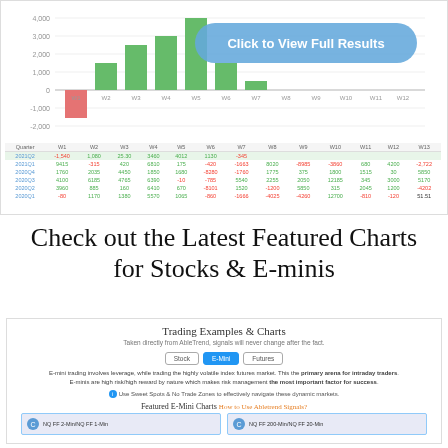[Figure (bar-chart): Weekly Trading Results]
| Quarter | W1 | W2 | W3 | W4 | W5 | W6 | W7 | W8 | W9 | W10 | W11 | W12 | W13 |
| --- | --- | --- | --- | --- | --- | --- | --- | --- | --- | --- | --- | --- | --- |
| 2021Q2 | -1,540 | 1,080 | 25,30 | 3460 | 4012 | 1130 | -345 |  |  |  |  |  |  |
| 2021Q1 | 9415 | -315 | 420 | 6810 | 175 | -420 | -1663 | 8020 | -8985 | -3860 | 680 | 4200 | -2,722 |
| 2020Q4 | 1760 | 2035 | 4450 | 1850 | 1680 | -8280 | -1760 | 1775 | 375 | 1800 | 1515 | 30 | 5850 |
| 2020Q3 | 4100 | 6185 | 4765 | 6390 | -10 | -785 | 5540 | 2255 | 2050 | 12185 | 345 | 3000 | 5170 |
| 2020Q2 | 3960 | 885 | 160 | 6410 | 670 | -8101 | 1520 | -1200 | 5850 | 315 | 2045 | 1200 | -4202 |
| 2020Q1 | -80 | 1170 | 1380 | 5570 | 1065 | -860 | -1666 | -4025 | -4260 | 12700 | -810 | -120 | 51.51 |
Check out the Latest Featured Charts for Stocks & E-minis
[Figure (screenshot): Trading Examples & Charts section with Stock, E-Mini, Futures buttons and featured charts]